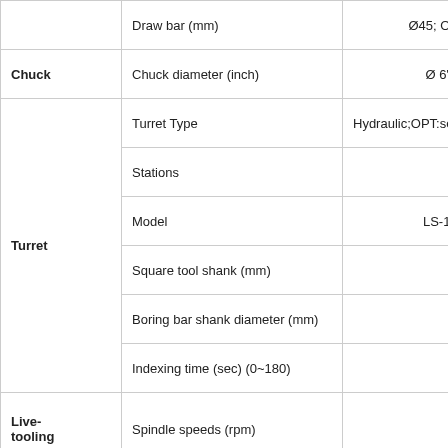| Category | Specification | Value |
| --- | --- | --- |
|  | Draw bar (mm) | Ø45; OPT: Ø52, |
| Chuck | Chuck diameter (inch) | Ø 6"; OPT: Ø |
| Turret | Turret Type | Hydraulic;OPT:servo |
|  | Stations | 10 |
|  | Model | LS-160A*10T |
|  | Square tool shank (mm) | 25x25 |
|  | Boring bar shank diameter (mm) | Ø40 |
|  | Indexing time (sec) (0~180) | 2 |
| Live-tooling | Spindle speeds (rpm) |  |
| Feedrate | Rapid traverse (M/min) | X:20, Z:20 |
|  | type | manual; OPT:progra |
|  | Quill diameter (mm) | Ø65 |
| Tailstock | Quill bore taper | MT-4 |
|  | Quill travel (mm) | 50 |
|  | Tailstock travel (mm) | 290 |
|  | Main spindle (kW) | β8 7.5/11; OPT: β |
|  | Live-tool (kW) |  |